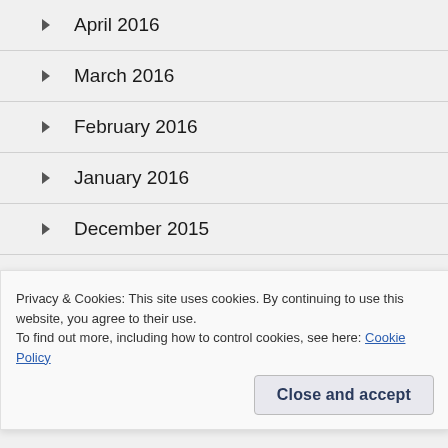April 2016
March 2016
February 2016
January 2016
December 2015
November 2015
October 2015
September 2015
Privacy & Cookies: This site uses cookies. By continuing to use this website, you agree to their use.
To find out more, including how to control cookies, see here: Cookie Policy
Close and accept